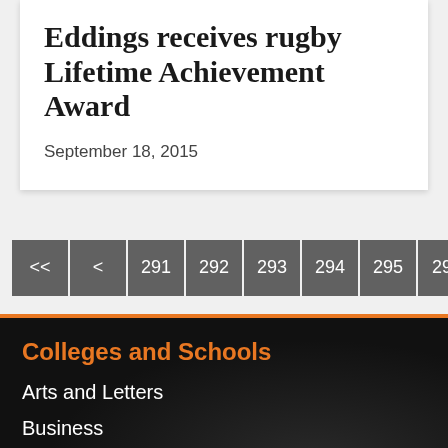Eddings receives rugby Lifetime Achievement Award
September 18, 2015
<< < 291 292 293 294 295 296
Colleges and Schools
Arts and Letters
Business
Education
Graduate School
Health Professions